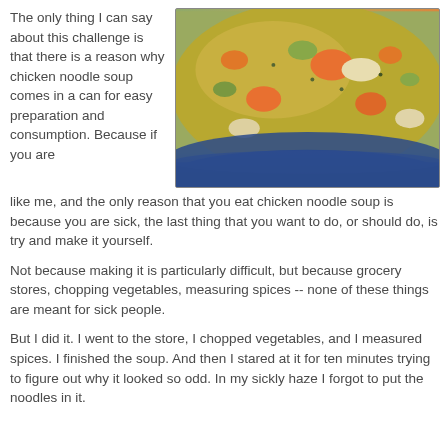The only thing I can say about this challenge is that there is a reason why chicken noodle soup comes in a can for easy preparation and consumption. Because if you are like me, and the only reason that you eat chicken noodle soup is because you are sick, the last thing that you want to do, or should do, is try and make it yourself.
[Figure (photo): A blue bowl of homemade chicken noodle soup with visible carrots, chicken pieces, and broth with herbs]
Not because making it is particularly difficult, but because grocery stores, chopping vegetables, measuring spices -- none of these things are meant for sick people.
But I did it. I went to the store, I chopped vegetables, and I measured spices. I finished the soup. And then I stared at it for ten minutes trying to figure out why it looked so odd. In my sickly haze I forgot to put the noodles in it.